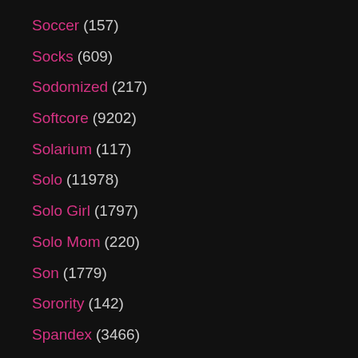Soccer (157)
Socks (609)
Sodomized (217)
Softcore (9202)
Solarium (117)
Solo (11978)
Solo Girl (1797)
Solo Mom (220)
Son (1779)
Sorority (142)
Spandex (3466)
Spanish (3032)
Spanking (5207)
Speculum (173)
Sperm (2688)